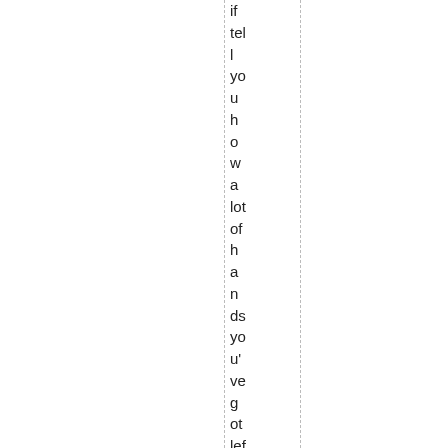if tell you how a lot of hands you've got left to play before your